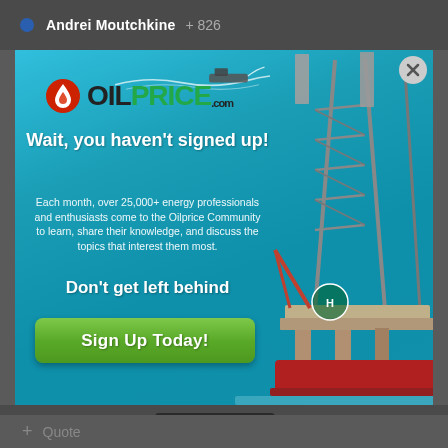Andrei Moutchkine  + 826
[Figure (screenshot): OilPrice.com popup modal overlay on a website. The modal shows a blue ocean background with an oil rig platform on the right side and a boat with wake at the top. Left side contains the OilPrice.com logo (flame drop icon, black OIL, green PRICE, small .com), a headline 'Wait, you haven't signed up!', body text about the Oilprice Community, 'Don't get left behind' subheading, and a green 'Sign Up Today!' button. A close (X) button appears top right of the modal.]
optinmonster  2  1
+ Quote